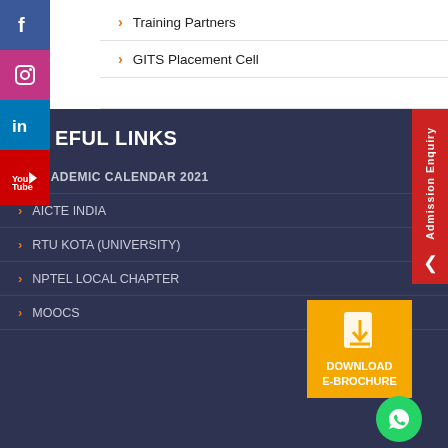Training Partners
GITS Placement Cell
USEFUL LINKS
ACADEMIC CALENDAR 2021
AICTE INDIA
RTU KOTA (UNIVERSITY)
NPTEL LOCAL CHAPTER
MOOCS